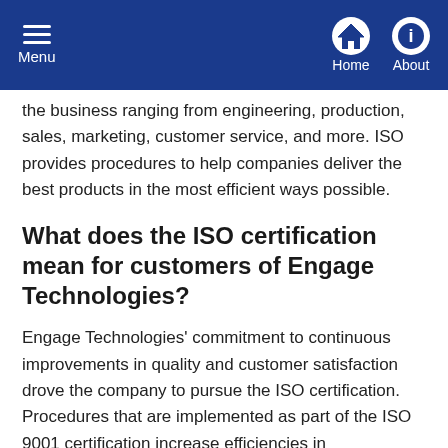Menu | Home | About
the business ranging from engineering, production, sales, marketing, customer service, and more. ISO provides procedures to help companies deliver the best products in the most efficient ways possible.
What does the ISO certification mean for customers of Engage Technologies?
Engage Technologies' commitment to continuous improvements in quality and customer satisfaction drove the company to pursue the ISO certification. Procedures that are implemented as part of the ISO 9001 certification increase efficiencies in communication, planning, and production. The achievement of the ISO 9001:2015 certification allows Engage Technologies' family of